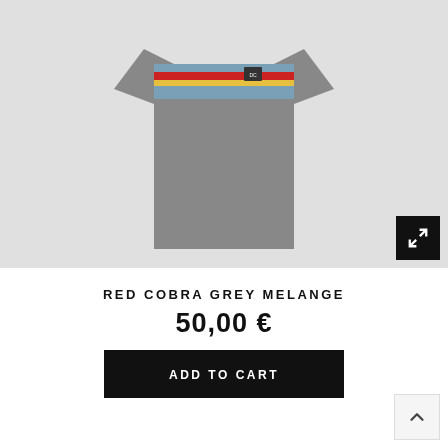[Figure (photo): Grey melange t-shirt with Red Cobra graphic design at the chest, displayed flat on a light grey background. The shirt has a graphic print featuring horizontal stripes of red, yellow, and blue with a car/cobra motif.]
RED COBRA GREY MELANGE
50,00 €
ADD TO CART